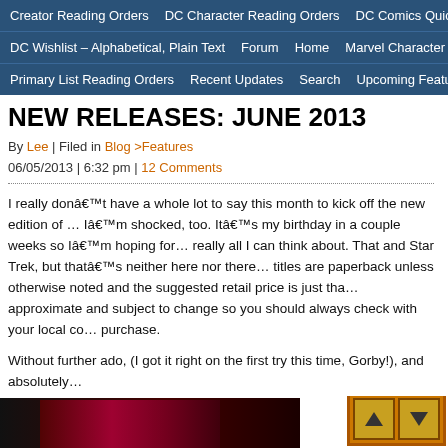Creator Reading Orders | DC Character Reading Orders | DC Comics Quick L… | DC Wishlist – Alphabetical, Plain Text | Forum | Home | Marvel Character R… | Primary List Reading Orders | Recent Updates | Search | Upcoming Features
NEW RELEASES: JUNE 2013
By Lee | Filed in Blog >Features
06/05/2013 | 6:32 pm | 12 Comments
I really donâ€™t have a whole lot to say this month to kick off the new edition of … Iâ€™m shocked, too. Itâ€™s my birthday in a couple weeks so Iâ€™m hoping for… really all I can think about. That and Star Trek, but thatâ€™s neither here nor there… titles are paperback unless otherwise noted and the suggested retail price is just tha… approximate and subject to change so you should always check with your local co… purchase.
Without further ado, (I got it right on the first try this time, Gorby!), and absolutely…
MARVEL
[Figure (screenshot): Bottom strip showing a dark comic book image on the left and orange scroll up/down navigation buttons on the right]